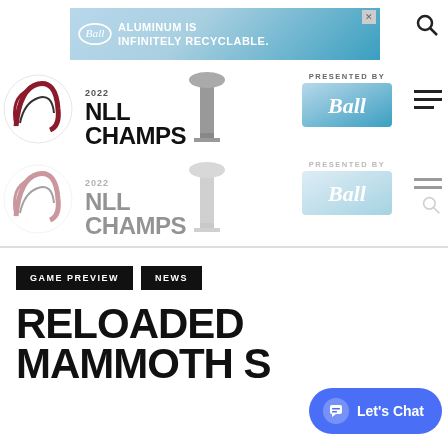[Figure (screenshot): Website header with NLL 2022 Champs logo presented by Ball, with ad banner 'Aluminum is Infinitely Recyclable' at top. Header appears duplicated (primary and faded secondary). Navigation icons visible.]
GAME PREVIEW
NEWS
RELOADED MAMMOTH S…